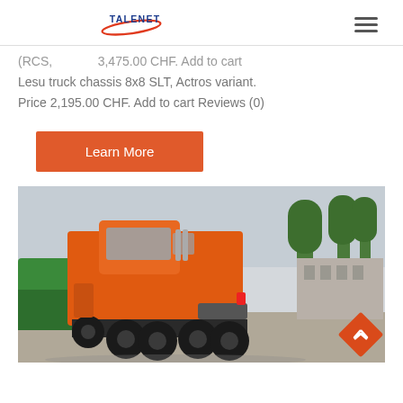TALENET [logo] [hamburger menu]
(RCS, ... 3,475.00 CHF. Add to cart Lesu truck chassis 8x8 SLT, Actros variant. Price 2,195.00 CHF. Add to cart Reviews (0)
[Figure (other): Orange 'Learn More' button]
[Figure (photo): Orange heavy-duty truck (rear-side view) parked in a yard with trees in the background. A green truck is partially visible on the left.]